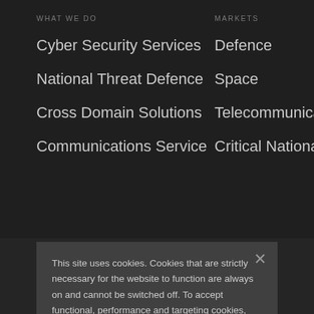WHAT WE DO
Cyber Security Services
National Threat Defence
Cross Domain Solutions
Communications Service
MARKETS
Defence
Space
Telecommunication
Critical National
This site uses cookies. Cookies that are strictly necessary for the website to function are always on and cannot be switched off. To accept functional, performance and targeting cookies, click “Accept All”. Alternatively, you can reject these cookies by clicking the “Necessary Cookies only” button.
Manage My Choices
Necessary Cookies only
Accept All